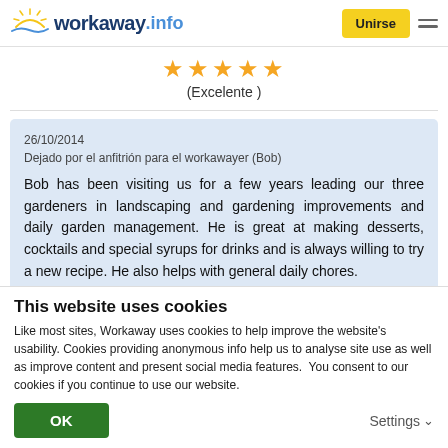workaway.info | Unirse
★★★★★ (Excelente )
26/10/2014
Dejado por el anfitrión para el workawayer (Bob)

Bob has been visiting us for a few years leading our three gardeners in landscaping and gardening improvements and daily garden management. He is great at making desserts, cocktails and special syrups for drinks and is always willing to try a new recipe. He also helps with general daily chores.
This website uses cookies
Like most sites, Workaway uses cookies to help improve the website's usability. Cookies providing anonymous info help us to analyse site use as well as improve content and present social media features.  You consent to our cookies if you continue to use our website.
OK    Settings